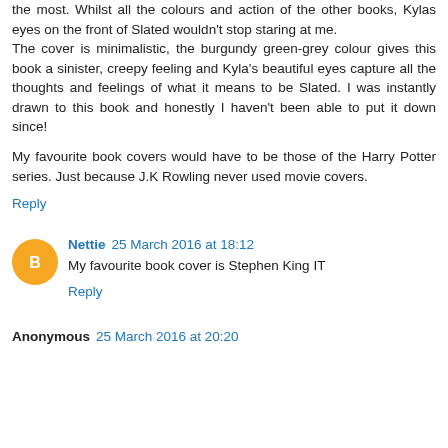the most. Whilst all the colours and action of the other books, Kylas eyes on the front of Slated wouldn't stop staring at me.
The cover is minimalistic, the burgundy green-grey colour gives this book a sinister, creepy feeling and Kyla's beautiful eyes capture all the thoughts and feelings of what it means to be Slated. I was instantly drawn to this book and honestly I haven't been able to put it down since!
My favourite book covers would have to be those of the Harry Potter series. Just because J.K Rowling never used movie covers.
Reply
Nettie  25 March 2016 at 18:12
My favourite book cover is Stephen King IT
Reply
Anonymous  25 March 2016 at 20:20